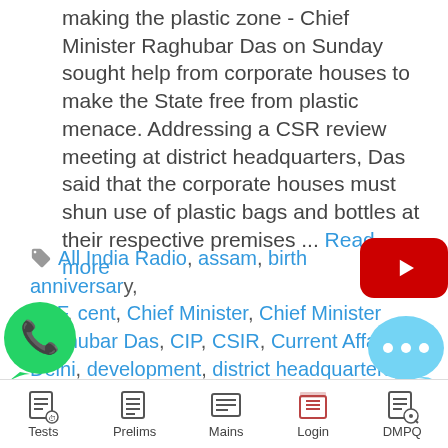making the plastic zone - Chief Minister Raghubar Das on Sunday sought help from corporate houses to make the State free from plastic menace. Addressing a CSR review meeting at district headquarters, Das said that the corporate houses must shun use of plastic bags and bottles at their respective premises ... Read more
All India Radio, assam, birth anniversary, BSF, cent, Chief Minister, Chief Minister Raghubar Das, CIP, CSIR, Current Affairs, Delhi, development, district headquarters, Drinking Water, External Affairs Minister, External Affairs Minister Sushma Swaraj,
Tests | Prelims | Mains | Login | DMPQ